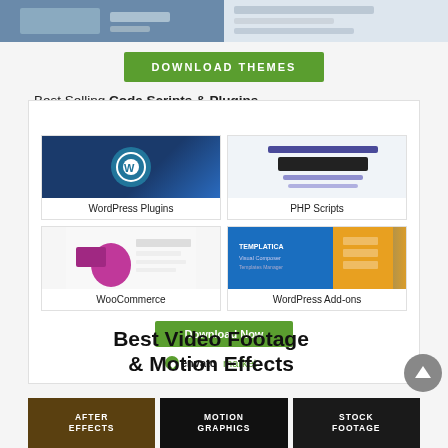[Figure (screenshot): Two partial website/theme screenshots at top]
DOWNLOAD THEMES
Best Selling Code Scripts & Plugins
[Figure (screenshot): WordPress Plugins thumbnail with WP logo on dark blue background]
WordPress Plugins
[Figure (screenshot): PHP Scripts thumbnail with UI bar elements]
PHP Scripts
[Figure (screenshot): WooCommerce thumbnail with hotel booking plugin]
WooCommerce
[Figure (screenshot): Templatica WordPress Add-ons thumbnail with blue and gold background]
WordPress Add-ons
Download Now
[Figure (logo): envato market logo with leaf icon]
Best Video Footage & Motion Effects
[Figure (screenshot): After Effects category thumbnail - dark brown background with white text]
[Figure (screenshot): Motion Graphics category thumbnail - black background with white text]
[Figure (screenshot): Stock Footage category thumbnail - dark background with white text]